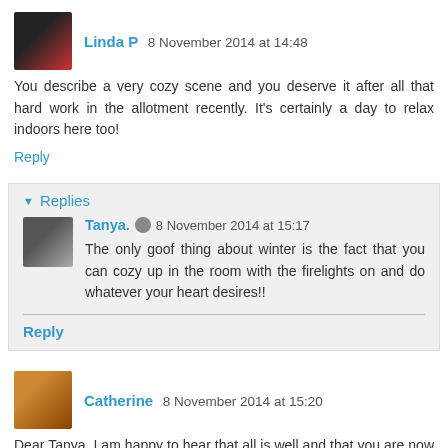Linda P  8 November 2014 at 14:48
You describe a very cozy scene and you deserve it after all that hard work in the allotment recently. It's certainly a day to relax indoors here too!
Reply
Replies
Tanya.  8 November 2014 at 15:17
The only goof thing about winter is the fact that you can cozy up in the room with the firelights on and do whatever your heart desires!!
Reply
Catherine  8 November 2014 at 15:20
Dear Tanya, I am happy to hear that all is well and that you are now cozy and relaxing while the rain is coming down. I do love cosy evenings here. There are loads delightful. Bless i